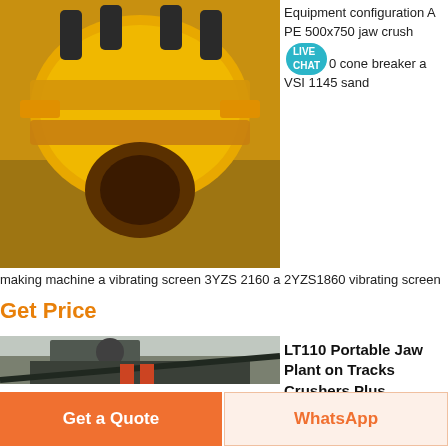[Figure (photo): Yellow cone crusher machine photographed from above, showing mechanical components.]
Equipment configuration A PE 500x750 jaw crusher 500 cone breaker a VSI 1145 sand
making machine a vibrating screen 3YZS 2160 a 2YZS1860 vibrating screen
Get Price
[Figure (photo): Industrial crushing plant on tracks, with large machinery, conveyor belt, and workers visible on site.]
LT110 Portable Jaw Plant on Tracks Crushers Plus
Contact Us Main Office 100